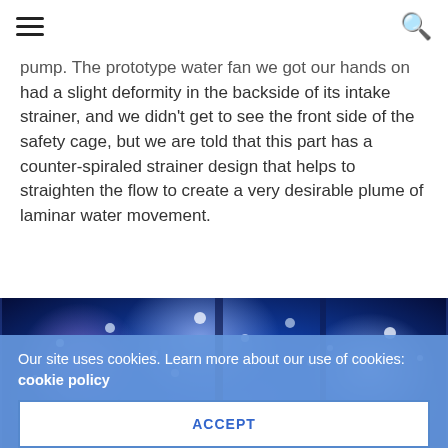[hamburger menu] [search icon]
pump. The prototype water fan we got our hands on had a slight deformity in the backside of its intake strainer, and we didn't get to see the front side of the safety cage, but we are told that this part has a counter-spiraled strainer design that helps to straighten the flow to create a very desirable plume of laminar water movement.
[Figure (photo): Underwater aquarium photo showing aquatic life and pump equipment against a blue-lit background with light reflections]
Our site uses cookies. Learn more about our use of cookies: cookie policy
ACCEPT